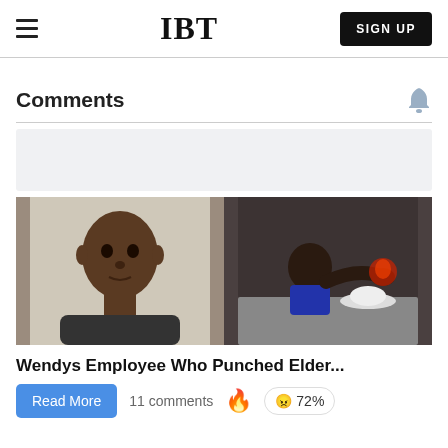IBT
Comments
[Figure (photo): Article thumbnail showing two images side by side: a mugshot of a man on the left, and a surveillance camera still on the right]
Wendys Employee Who Punched Elder...
Read More  11 comments  🔥  😠 72%